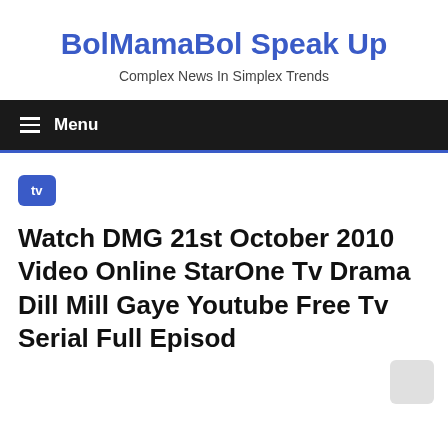BolMamaBol Speak Up
Complex News In Simplex Trends
≡  Menu
tv
Watch DMG 21st October 2010 Video Online StarOne Tv Drama Dill Mill Gaye Youtube Free Tv Serial Full Episod